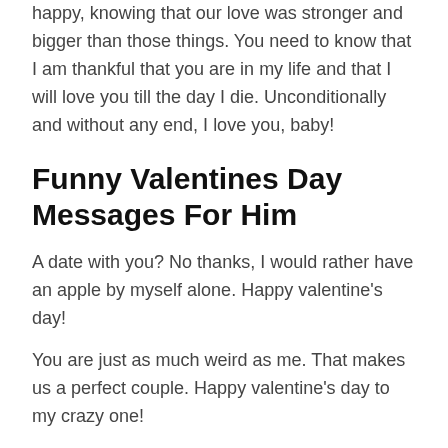happy, knowing that our love was stronger and bigger than those things. You need to know that I am thankful that you are in my life and that I will love you till the day I die. Unconditionally and without any end, I love you, baby!
Funny Valentines Day Messages For Him
A date with you? No thanks, I would rather have an apple by myself alone. Happy valentine's day!
You are just as much weird as me. That makes us a perfect couple. Happy valentine's day to my crazy one!
Want to know my plan for today? Getting you arrested for stealing my heart. Happy valentine's day, my love!
If you can't buy happiness with money, try buying a valentine's gift for me. It will work like magic. I can